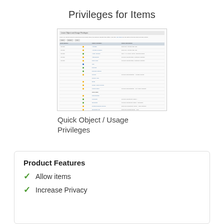Privileges for Items
[Figure (screenshot): Screenshot of Quick Object / Usage Privileges interface showing a table with items, icons, and privilege settings]
Quick Object / Usage Privileges
Product Features
Allow items
Increase Privacy